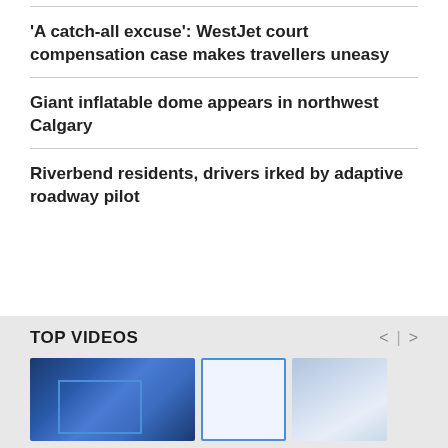'A catch-all excuse': WestJet court compensation case makes travellers uneasy
Giant inflatable dome appears in northwest Calgary
Riverbend residents, drivers irked by adaptive roadway pilot
TOP VIDEOS
[Figure (photo): Three video thumbnails: left shows cloudy blue sky with blue rectangle overlay, middle is a white/blue placeholder box, right shows a snowy or cloudy scene]